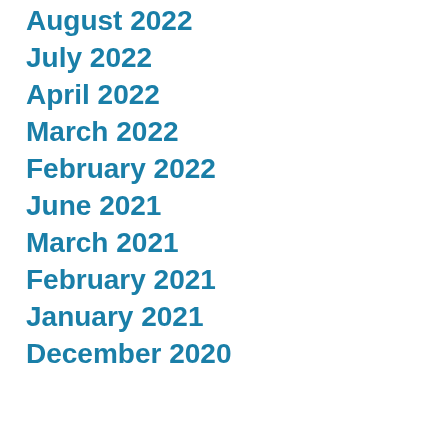August 2022
July 2022
April 2022
March 2022
February 2022
June 2021
March 2021
February 2021
January 2021
December 2020